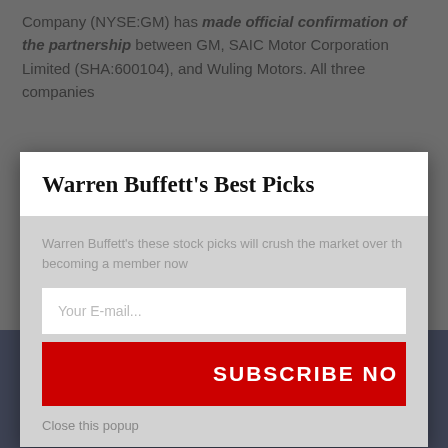Company (NYSE:GM) has made official confirmation of the partnership between GM, SAIC Motor Corporation Limited (SHA:600104), and Wuling Motors. All three companies
[Figure (logo): GM logo letters in dark navy blue on a dark background, partially visible at bottom of page]
Warren Buffett's Best Picks
Warren Buffett's these stock picks will crush the market over the next 12 months. Get advice becoming a member now
Your E-mail...
SUBSCRIBE NOW
Close this popup